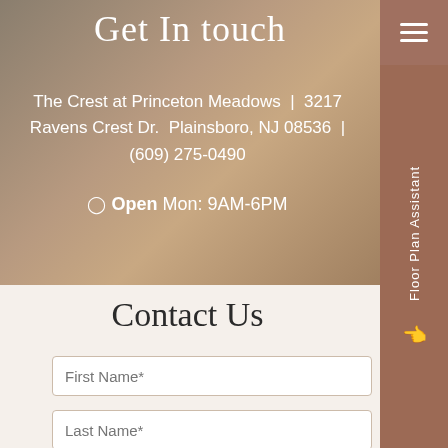Get In touch
The Crest at Princeton Meadows  |   3217 Ravens Crest Dr.  Plainsboro, NJ 08536  |  (609) 275-0490
Open  Mon: 9AM-6PM
Contact Us
First Name*
Last Name*
Floor Plan Assistant